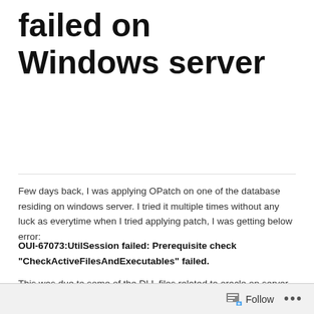failed on Windows server
Few days back, I was applying OPatch on one of the database residing on windows server. I tried it multiple times without any luck as everytime when I tried applying patch, I was getting below error:
OUI-67073:UtilSession failed: Prerequisite check “CheckActiveFilesAndExecutables” failed.
This was due to some of the DLL files related to oracle on server were used by some of the active processes even after I had stopped all oracle related services. Even i tried rebooting whole server, but it
Follow ...